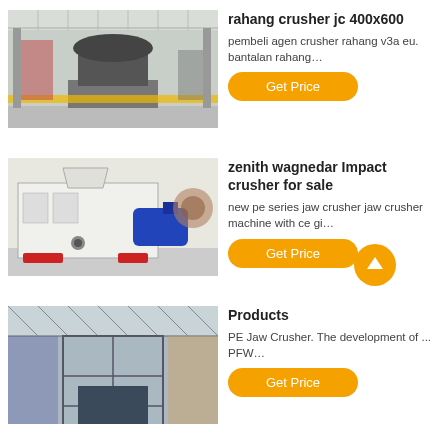[Figure (photo): Industrial crusher machine in a large factory hall]
rahang crusher jc 400x600
pembeli agen crusher rahang v3a eu. bantalan rahang…
[Figure (other): Orange Get Price button]
[Figure (photo): Impact crusher machine, white with blue motor]
zenith wagnedar Impact crusher for sale
new pe series jaw crusher jaw crusher machine with ce gi…
[Figure (other): Orange Get Price button]
[Figure (photo): Large industrial factory interior with heavy machinery]
Products
PE Jaw Crusher. The development of ... PFW…
[Figure (other): Orange Get Price button (partially visible)]